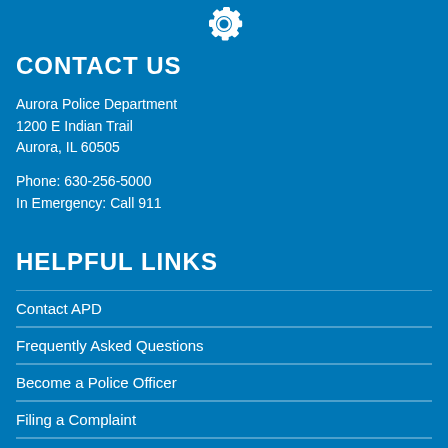[Figure (illustration): White gear/settings icon centered at top of page]
CONTACT US
Aurora Police Department
1200 E Indian Trail
Aurora, IL 60505
Phone: 630-256-5000
In Emergency: Call 911
HELPFUL LINKS
Contact APD
Frequently Asked Questions
Become a Police Officer
Filing a Complaint
News Releases & Public Information
Curfew Hours/Ages